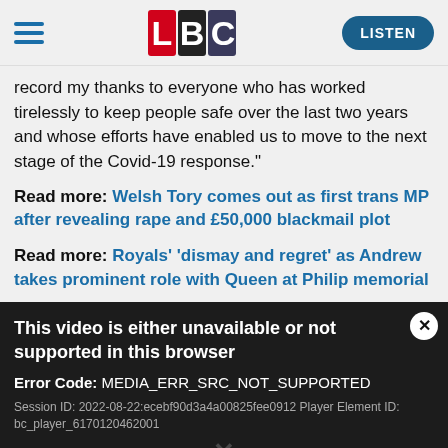[Figure (logo): LBC radio logo with L in red, B in black, C in dark blue/gray, navigation hamburger menu on left, LISTEN button on right]
record my thanks to everyone who has worked tirelessly to keep people safe over the last two years and whose efforts have enabled us to move to the next stage of the Covid-19 response."
Read more: Welsh Tory comes out as first trans MP after revealing rape and £50,000 blackmail plot
Read more: Royals' 'dismay and regret' as Andrew takes prominent role with Queen at Philip memorial
This video is either unavailable or not supported in this browser
Error Code: MEDIA_ERR_SRC_NOT_SUPPORTED
Session ID: 2022-08-22:ecebf90d3a4a00825fee0912 Player Element ID: bc_player_6170120462001